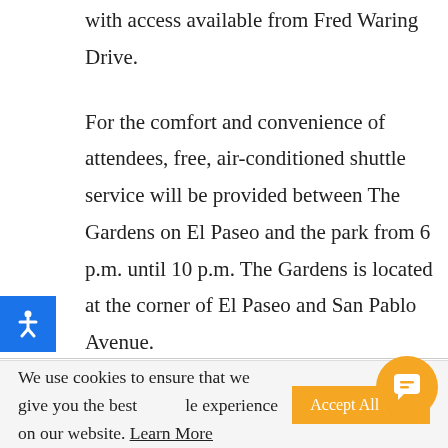with access available from Fred Waring Drive.
For the comfort and convenience of attendees, free, air-conditioned shuttle service will be provided between The Gardens on El Paseo and the park from 6 p.m. until 10 p.m. The Gardens is located at the corner of El Paseo and San Pablo Avenue.
To accommodate the pyrotechnic safety zone,
We use cookies to ensure that we give you the best possible experience on our website. Learn More